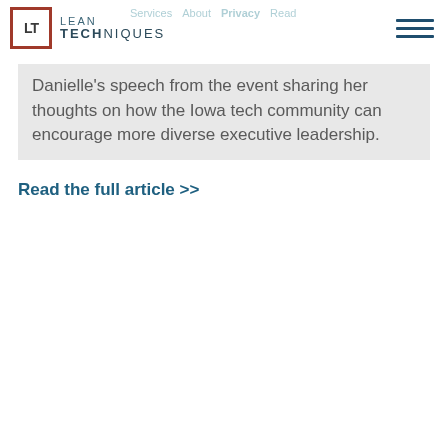LEAN TECHNIQUES
Danielle’s speech from the event sharing her thoughts on how the Iowa tech community can encourage more diverse executive leadership.
Read the full article >>